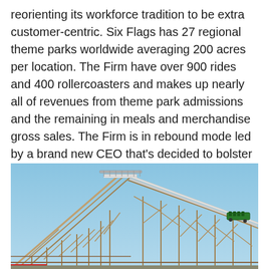reorienting its workforce tradition to be extra customer-centric. Six Flags has 27 regional theme parks worldwide averaging 200 acres per location. The Firm have over 900 rides and 400 rollercoasters and makes up nearly all of revenues from theme park admissions and the remaining in meals and merchandise gross sales. The Firm is in rebound mode led by a brand new CEO that's decided to bolster visitor experiences and satisfaction as high precedence. Prudent buyers searching for publicity forward of the restoration in amusement park attendance can search for opportunistic pullbacks in shares of Six Flags Leisure.
[Figure (photo): A wooden roller coaster structure photographed from below against a blue sky, with a roller coaster car visible on the tracks near the top right.]